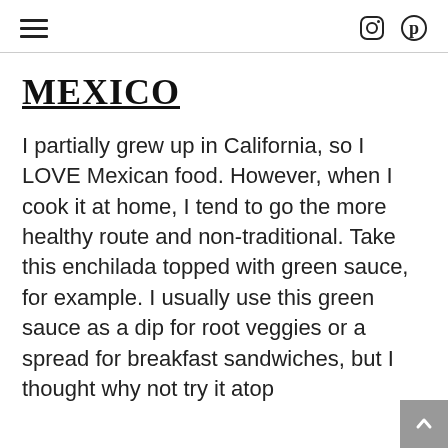≡  [instagram icon] [pinterest icon]
MEXICO
I partially grew up in California, so I LOVE Mexican food. However, when I cook it at home, I tend to go the more healthy route and non-traditional. Take this enchilada topped with green sauce, for example. I usually use this green sauce as a dip for root veggies or a spread for breakfast sandwiches, but I thought why not try it atop